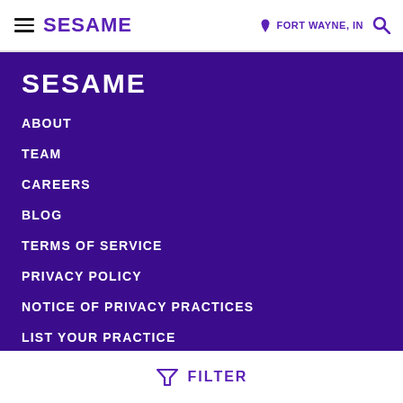SESAME   FORT WAYNE, IN
SESAME
ABOUT
TEAM
CAREERS
BLOG
TERMS OF SERVICE
PRIVACY POLICY
NOTICE OF PRIVACY PRACTICES
LIST YOUR PRACTICE
FOR EMPLOYERS
FILTER